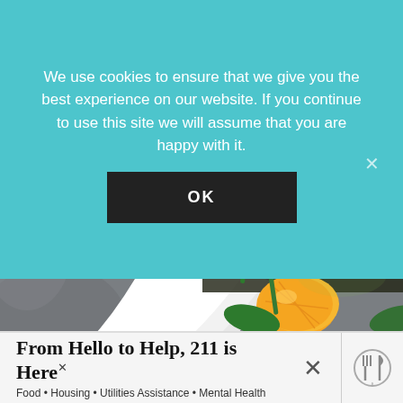We use cookies to ensure that we give you the best experience on our website. If you continue to use this site we will assume that you are happy with it.
OK
[Figure (photo): Close-up photo of a white bowl containing a fresh salad with spinach leaves, pine nuts, mandarin orange segments, pasta, cranberries, and green beans.]
From Hello to Help, 211 is Here
Food • Housing • Utilities Assistance • Mental Health